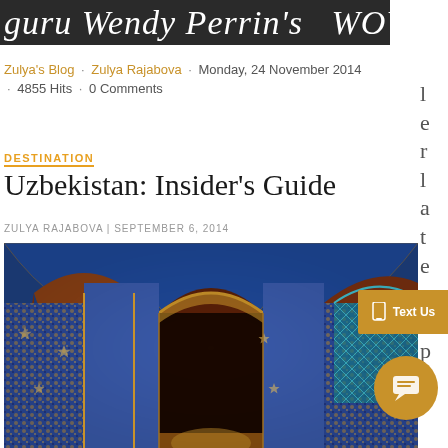guru Wendy Perrin's  WOW  list
Zulya's Blog · Zulya Rajabova · Monday, 24 November 2014 · 4855 Hits · 0 Comments
DESTINATION
Uzbekistan: Insider's Guide
ZULYA RAJABOVA | SEPTEMBER 6, 2014
[Figure (photo): Interior of ornate Islamic architecture with intricate blue and gold mosaic tile work on domed ceiling and walls, featuring arched doorways, Uzbekistan]
l e r l a t e s t p